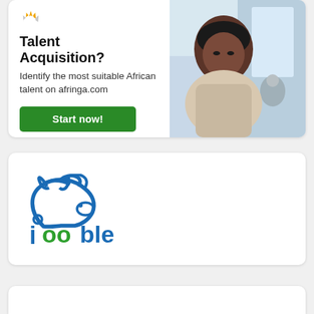[Figure (illustration): Afringa talent acquisition advertisement card with text 'Talent Acquisition?', 'Identify the most suitable African talent on afringa.com', a 'Start now!' green button, and a photo of a professional Black woman with short hair in a beige top]
[Figure (logo): Jooble job search logo: a blue rabbit/hare icon above the word 'jooble' in blue and green]
[Figure (other): Partial white card visible at the bottom of the page]